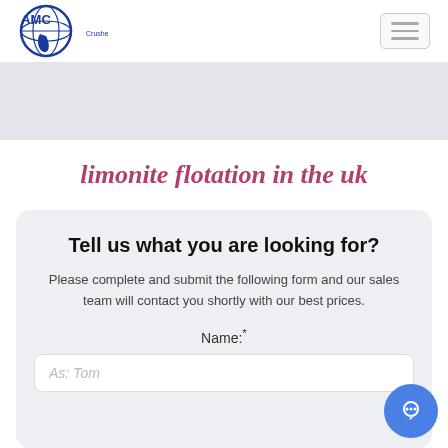[Figure (logo): AMC Crusher equipment logo — blue globe with AMC text and 'Crusher equipment' subtitle]
AMC Crusher equipment — navigation header with hamburger menu
[Figure (other): Grey banner background strip]
limonite flotation in the uk
Tell us what you are looking for?
Please complete and submit the following form and our sales team will contact you shortly with our best prices.
Name:*
As: Tom